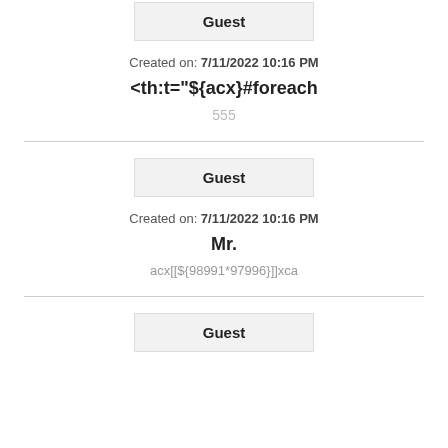Guest
Created on: 7/11/2022 10:16 PM
<th:t="${acx}#foreach
555
Guest
Created on: 7/11/2022 10:16 PM
Mr.
acx[[${98991*97996}]]xca
Guest